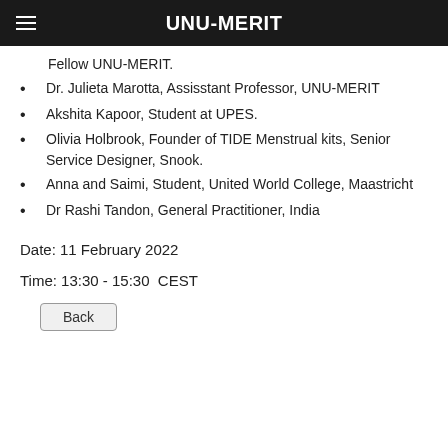UNU-MERIT
Fellow UNU-MERIT.
Dr. Julieta Marotta, Assisstant Professor, UNU-MERIT
Akshita Kapoor, Student at UPES.
Olivia Holbrook, Founder of TIDE Menstrual kits, Senior Service Designer, Snook.
Anna and Saimi, Student, United World College, Maastricht
Dr Rashi Tandon, General Practitioner, India
Date: 11 February 2022
Time: 13:30 - 15:30  CEST